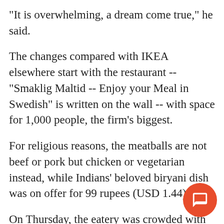"It is overwhelming, a dream come true," he said.
The changes compared with IKEA elsewhere start with the restaurant -- "Smaklig Maltid -- Enjoy your Meal in Swedish" is written on the wall -- with space for 1,000 people, the firm's biggest.
For religious reasons, the meatballs are not beef or pork but chicken or vegetarian instead, while Indians' beloved biryani dish was on offer for 99 rupees (USD 1.44).
On Thursday, the eatery was crowded with people happy to queue up with their trays